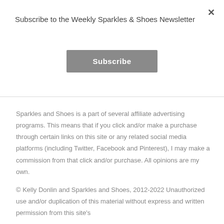Subscribe to the Weekly Sparkles & Shoes Newsletter
Subscribe
Sparkles and Shoes is a part of several affiliate advertising programs. This means that if you click and/or make a purchase through certain links on this site or any related social media platforms (including Twitter, Facebook and Pinterest), I may make a commission from that click and/or purchase. All opinions are my own.
© Kelly Donlin and Sparkles and Shoes, 2012-2022 Unauthorized use and/or duplication of this material without express and written permission from this site's